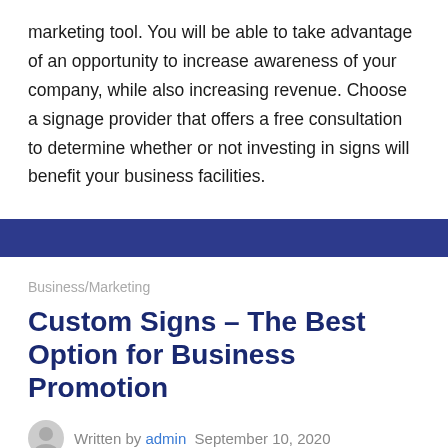marketing tool. You will be able to take advantage of an opportunity to increase awareness of your company, while also increasing revenue. Choose a signage provider that offers a free consultation to determine whether or not investing in signs will benefit your business facilities.
Business/Marketing
Custom Signs – The Best Option for Business Promotion
Written by admin  September 10, 2020
Custom signs are the best option for the promotion